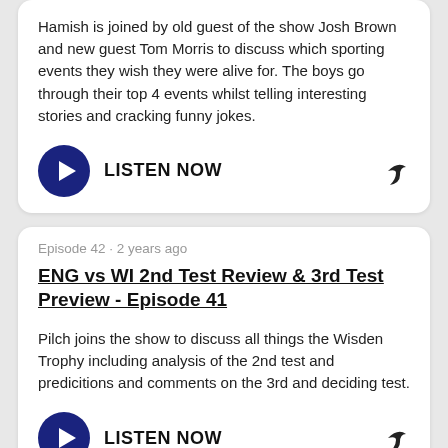Hamish is joined by old guest of the show Josh Brown and new guest Tom Morris to discuss which sporting events they wish they were alive for. The boys go through their top 4 events whilst telling interesting stories and cracking funny jokes.
LISTEN NOW
Episode 42 · 2 years ago
ENG vs WI 2nd Test Review & 3rd Test Preview - Episode 41
Pilch joins the show to discuss all things the Wisden Trophy including analysis of the 2nd test and predicitions and comments on the 3rd and deciding test.
LISTEN NOW